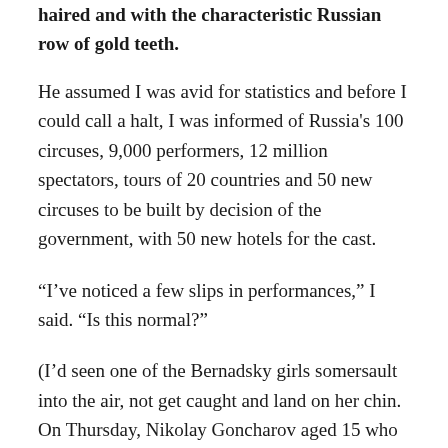haired and with the characteristic Russian row of gold teeth.
He assumed I was avid for statistics and before I could call a halt, I was informed of Russia's 100 circuses, 9,000 performers, 12 million spectators, tours of 20 countries and 50 new circuses to be built by decision of the government, with 50 new hotels for the cast.
“I’ve noticed a few slips in performances,” I said. “Is this normal?”
(I’d seen one of the Bernadsky girls somersault into the air, not get caught and land on her chin. On Thursday, Nikolay Goncharov aged 15 who is bounced high into the air off a see-saw, failed to land on his chair-on-